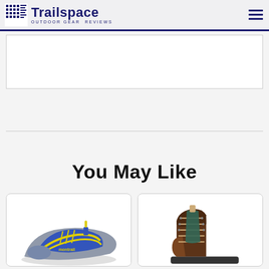Trailspace — OUTDOOR GEAR REVIEWS
[Figure (other): Advertisement placeholder box]
You May Like
[Figure (photo): Blue and yellow Montrail trail running shoe]
[Figure (photo): Brown leather hiking boot]